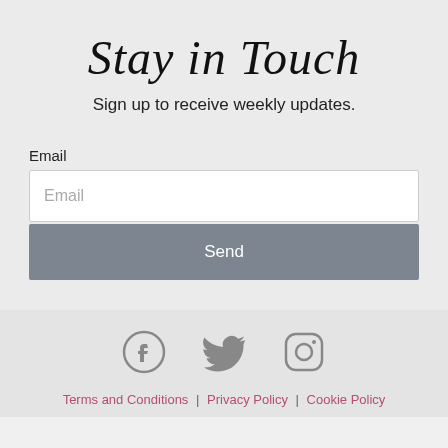Stay in Touch
Sign up to receive weekly updates.
Email
Email
Send
[Figure (illustration): Social media icons: Facebook, Twitter, Instagram]
Terms and Conditions | Privacy Policy | Cookie Policy